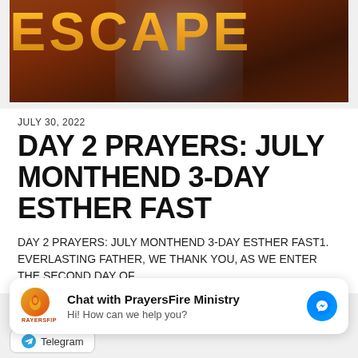[Figure (photo): Hero image with 'ESCAPE' text in gold letters on a dark reddish-brown background with a light blue glow behind the text]
JULY 30, 2022
DAY 2 PRAYERS: JULY MONTHEND 3-DAY ESTHER FAST
DAY 2 PRAYERS: JULY MONTHEND 3-DAY ESTHER FAST1. EVERLASTING FATHER, WE THANK YOU, AS WE ENTER THE SECOND DAY OF...
[Figure (screenshot): Chat widget for PrayersFire Ministry with logo, text 'Chat with PrayersFire Ministry' and 'Hi! How can we help you?' and a Facebook Messenger icon]
Telegram